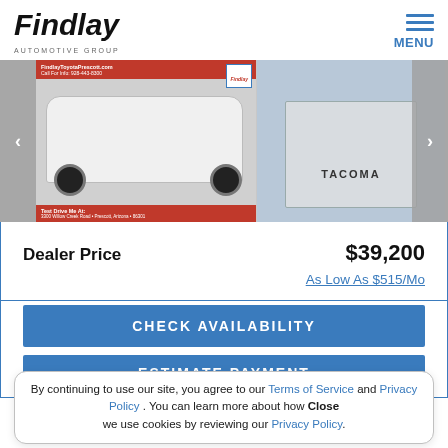[Figure (logo): Findlay Automotive Group logo in italic bold font]
[Figure (photo): Carousel of Toyota Tacoma vehicle photos: front/side exterior (white truck), rear exterior, and interior driver seat view]
Dealer Price   $39,200
As Low As $515/Mo
CHECK AVAILABILITY
ESTIMATE PAYMENT
By continuing to use our site, you agree to our Terms of Service and Privacy Policy . You can learn more about how we use cookies by reviewing our Privacy Policy.   Close